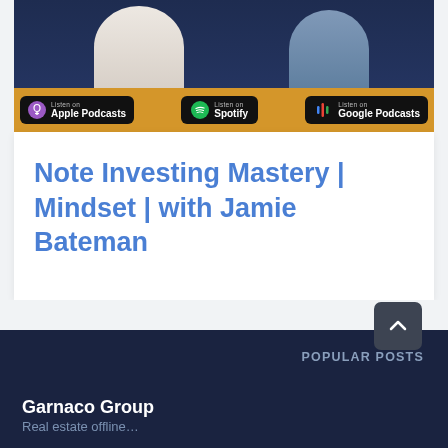[Figure (photo): Two people (podcast hosts) visible from torso up against dark navy background, with podcast platform badges (Apple Podcasts, Spotify, Google Podcasts) on a golden/amber banner below]
Note Investing Mastery | Mindset | with Jamie Bateman
Garnaco Group
POPULAR POSTS